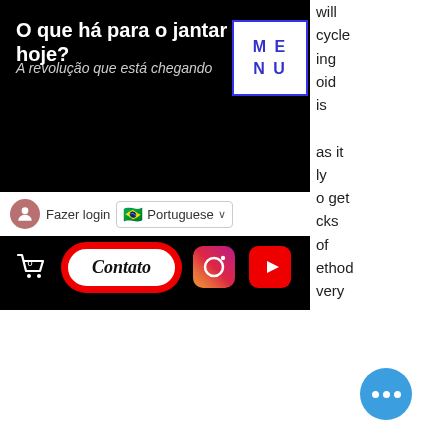[Figure (screenshot): Website screenshot showing a dark-themed food website with title 'O que há para o jantar hoje?', subtitle 'A revolução que está chegando', a MENU box, login bar with Portuguese language selector, and bottom navigation bar with cart, Contato button, Instagram and YouTube icons.]
will
cycle
ing
oid
is
as it
ly
o get
cks
of
ethod
very
How You Might Do It
The easiest way to get started with bulking on steroids is to just take a d of your training and then do 2-3 work of the same lifting load for 2-3 days, best